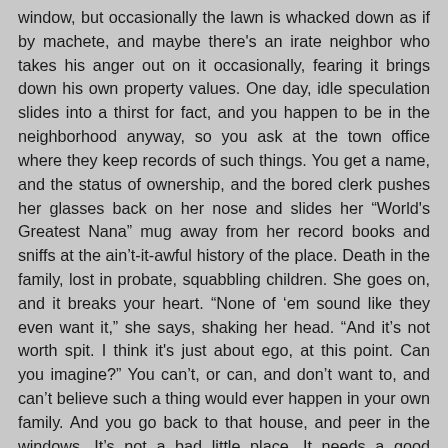window, but occasionally the lawn is whacked down as if by machete, and maybe there's an irate neighbor who takes his anger out on it occasionally, fearing it brings down his own property values. One day, idle speculation slides into a thirst for fact, and you happen to be in the neighborhood anyway, so you ask at the town office where they keep records of such things. You get a name, and the status of ownership, and the bored clerk pushes her glasses back on her nose and slides her “World's Greatest Nana” mug away from her record books and sniffs at the ain’t-it-awful history of the place. Death in the family, lost in probate, squabbling children. She goes on, and it breaks your heart. “None of ‘em sound like they even want it,” she says, shaking her head. “And it’s not worth spit. I think it's just about ego, at this point. Can you imagine?” You can’t, or can, and don’t want to, and can’t believe such a thing would ever happen in your own family. And you go back to that house, and peer in the windows. It’s not a bad little place. It needs a good cleaning and some love, and you’ve been thinking for a while that a change of scene might help you forget. In your soul, you already feel like you’re halfway to ownership. And on your way out, you wonder how the porch railings